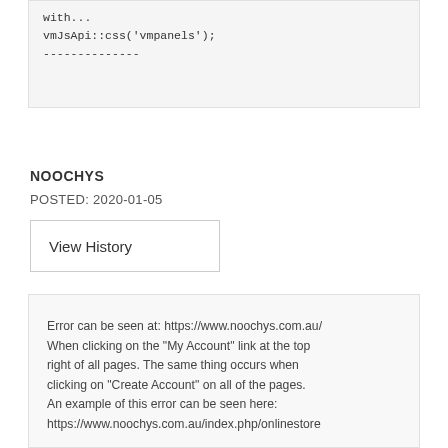with...
vmJsApi::css('vmpanels');
--------------
NOOCHYS
POSTED: 2020-01-05
View History
Error can be seen at: https://www.noochys.com.au/ When clicking on the "My Account" link at the top right of all pages. The same thing occurs when clicking on "Create Account" on all of the pages. An example of this error can be seen here: https://www.noochys.com.au/index.php/onlinestore